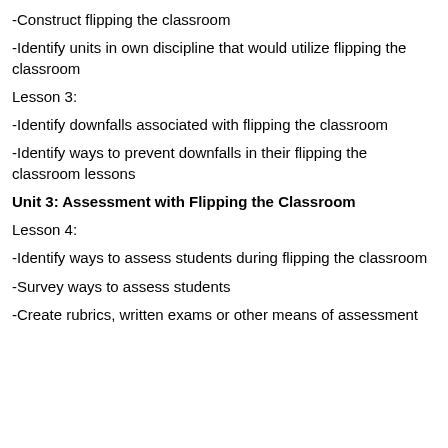-Construct flipping the classroom
-Identify units in own discipline that would utilize flipping the classroom
Lesson 3:
-Identify downfalls associated with flipping the classroom
-Identify ways to prevent downfalls in their flipping the classroom lessons
Unit 3: Assessment with Flipping the Classroom
Lesson 4:
-Identify ways to assess students during flipping the classroom
-Survey ways to assess students
-Create rubrics, written exams or other means of assessment